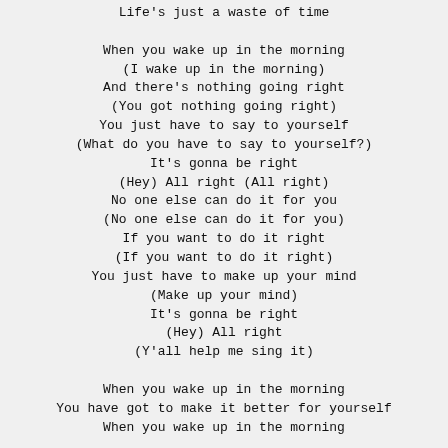Life's just a waste of time

When you wake up in the morning
(I wake up in the morning)
And there's nothing going right
(You got nothing going right)
You just have to say to yourself
(What do you have to say to yourself?)
It's gonna be right
(Hey) All right (All right)
No one else can do it for you
(No one else can do it for you)
If you want to do it right
(If you want to do it right)
You just have to make up your mind
(Make up your mind)
It's gonna be right
(Hey) All right
(Y'all help me sing it)

When you wake up in the morning
You have got to make it better for yourself
When you wake up in the morning